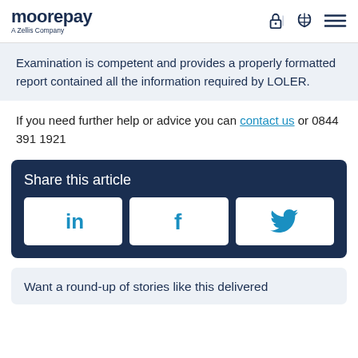moorepay - A Zellis Company
Examination is competent and provides a properly formatted report contained all the information required by LOLER.
If you need further help or advice you can contact us or 0844 391 1921
Share this article
[Figure (other): Social share buttons for LinkedIn, Facebook, and Twitter]
Want a round-up of stories like this delivered